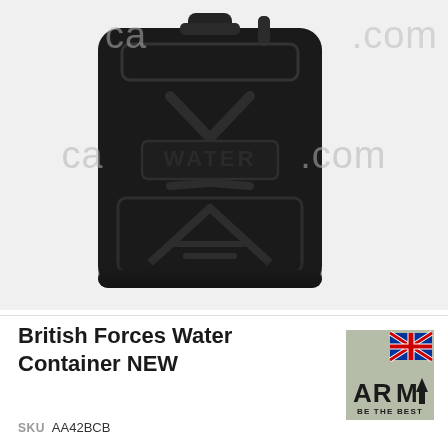[Figure (photo): Black military-style jerry can / water container with embossed WATER text and X pattern on the front, photographed against a white background. A watermark reading 'ca...om' is overlaid on the image.]
British Forces Water Container NEW
[Figure (logo): British Army logo badge: Union Jack flag in top right, 'ARMY' text in large bold letters with an upward arrow, and 'BE THE BEST' tagline below, on a khaki/olive green background.]
SKU  AA42BCB